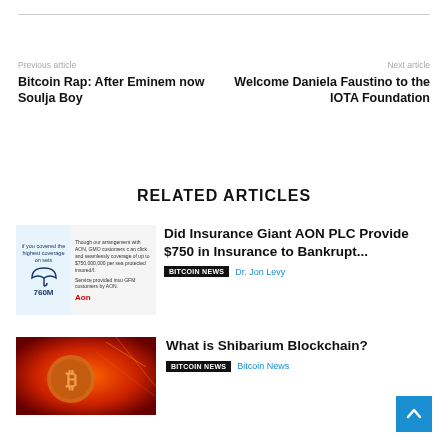Previous article | Next article
Previous article
Bitcoin Rap: After Eminem now Soulja Boy
Next article
Welcome Daniela Faustino to the IOTA Foundation
RELATED ARTICLES
[Figure (photo): AON insurance advertisement image with umbrella logo and text about $750M coverage]
Did Insurance Giant AON PLC Provide $750 in Insurance to Bankrupt...
BITCOIN NEWS  Dr. Jon Levy
[Figure (photo): Bitcoin coin glowing on red/orange background]
What is Shibarium Blockchain?
BITCOIN NEWS  Bitcoin News